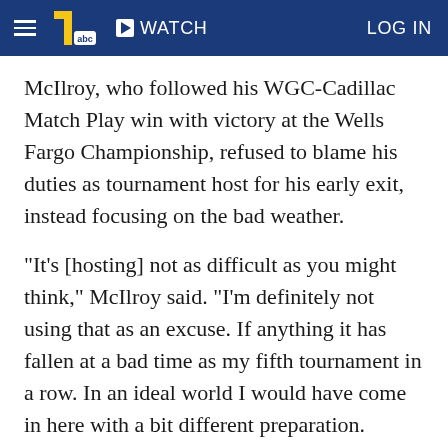≡  11abc  ▶ WATCH  LOG IN
McIlroy, who followed his WGC-Cadillac Match Play win with victory at the Wells Fargo Championship, refused to blame his duties as tournament host for his early exit, instead focusing on the bad weather.
"It's [hosting] not as difficult as you might think," McIlroy said. "I'm definitely not using that as an excuse. If anything it has fallen at a bad time as my fifth tournament in a row. In an ideal world I would have come in here with a bit different preparation.
"The conditions at Quail Hollow, that's my game, that's what I do best. Give me this golf course in those